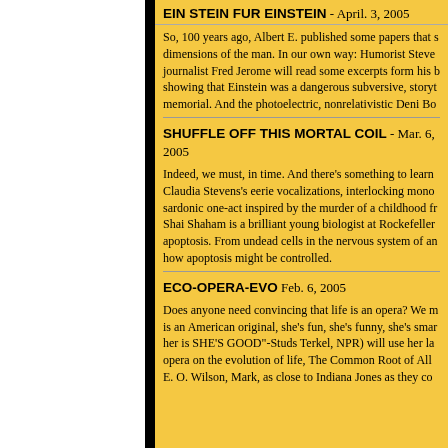EIN STEIN FUR EINSTEIN - April. 3, 2005
So, 100 years ago, Albert E. published some papers that s dimensions of the man. In our own way: Humorist Steve journalist Fred Jerome will read some excerpts form his b showing that Einstein was a dangerous subversive, storyt memorial. And the photoelectric, nonrelativistic Deni Bo
SHUFFLE OFF THIS MORTAL COIL - Mar. 6, 2005
Indeed, we must, in time. And there's something to learn Claudia Stevens's eerie vocalizations, interlocking mono sardonic one-act inspired by the murder of a childhood fr Shai Shaham is a brilliant young biologist at Rockefeller apoptosis. From undead cells in the nervous system of an how apoptosis might be controlled.
ECO-OPERA-EVO Feb. 6, 2005
Does anyone need convincing that life is an opera? We m is an American original, she's fun, she's funny, she's smar her is SHE'S GOOD"-Studs Terkel, NPR) will use her la opera on the evolution of life, The Common Root of All E. O. Wilson, Mark, as close to Indiana Jones as they co